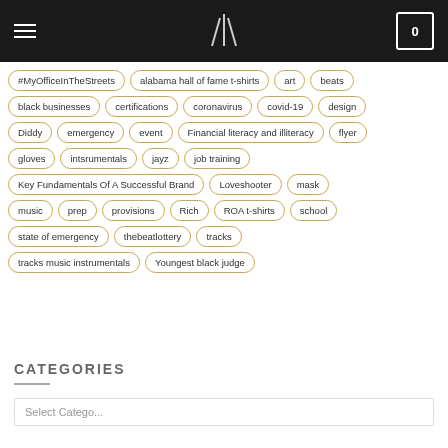Navigation header with hamburger menu, logo, and cart (0)
#MyOfficeInTheStreets
alabama hall of fame t-shirts
art
beats
black businesses
certifications
coronavirus
covid-19
design
Diddy
emergency
event
Financial literacy and illiteracy
flyer
gloves
intsrumentals
jayz
job training
Key Fundamentals Of A Successful Brand
Loveshooter
mask
music
prep
provisions
Rich
ROA t-shirts
school
state of emergency
thebeatlottery
tracks
tracks music instrumentals
Youngest black judge
CATEGORIES
Select Category